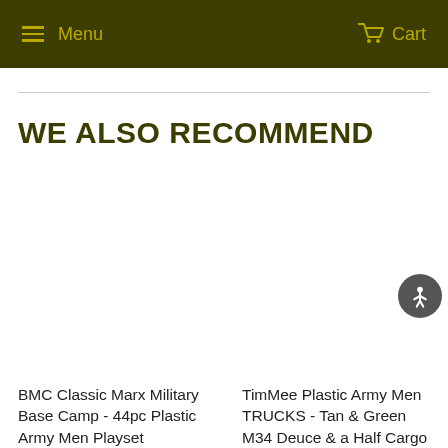Menu  Cart
WE ALSO RECOMMEND
BMC Classic Marx Military Base Camp - 44pc Plastic Army Men Playset
TimMee Plastic Army Men TRUCKS - Tan & Green M34 Deuce & a Half Cargo